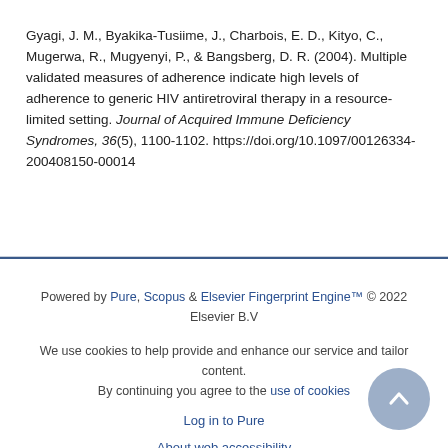Gyagi, J. M., Byakika-Tusiime, J., Charbois, E. D., Kityo, C., Mugerwa, R., Mugyenyi, P., & Bangsberg, D. R. (2004). Multiple validated measures of adherence indicate high levels of adherence to generic HIV antiretroviral therapy in a resource-limited setting. Journal of Acquired Immune Deficiency Syndromes, 36(5), 1100-1102. https://doi.org/10.1097/00126334-200408150-00014
Powered by Pure, Scopus & Elsevier Fingerprint Engine™ © 2022 Elsevier B.V
We use cookies to help provide and enhance our service and tailor content. By continuing you agree to the use of cookies
Log in to Pure
About web accessibility